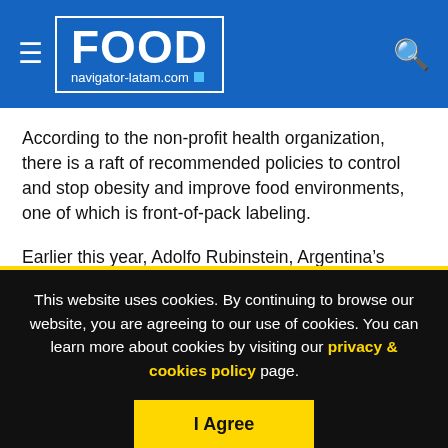FOOD navigator-latam.com
According to the non-profit health organization, there is a raft of recommended policies to control and stop obesity and improve food environments, one of which is front-of-pack labeling.
Earlier this year, Adolfo Rubinstein, Argentina’s health minister under Maurcio Macri’s government, said the country was considering a hybrid nutrition label that would incorporate elements of the Guideline Daily Amount model and color
This website uses cookies. By continuing to browse our website, you are agreeing to our use of cookies. You can learn more about cookies by visiting our privacy & cookies policy page.
I Agree